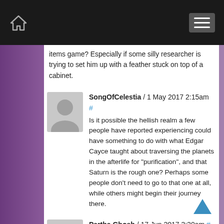Home menu
items game? Especially if some silly researcher is trying to set him up with a feather stuck on top of a cabinet.
SongOfCelestia / 1 May 2017 2:15am # Is it possible the hellish realm a few people have reported experiencing could have something to do with what Edgar Cayce taught about traversing the planets in the afterlife for "purification", and that Saturn is the rough one? Perhaps some people don't need to go to that one at all, while others might begin their journey there.
Partha Ghosh / 17 Jun 2017 3:20am # Kundalini Yoga was first practiced in Hindu Tantra Shastra (Ref: http://www.religionfacts.com/kundalini-yoga). Sir John Woodroffe , a British and erstwhile Chief